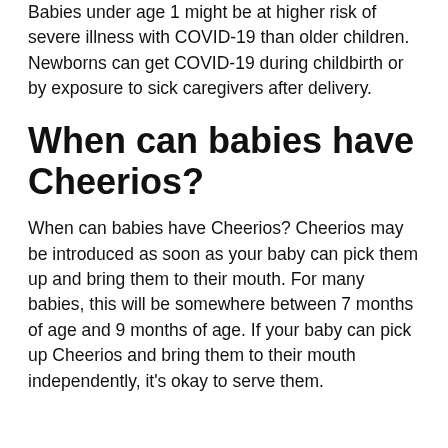Babies under age 1 might be at higher risk of severe illness with COVID-19 than older children. Newborns can get COVID-19 during childbirth or by exposure to sick caregivers after delivery.
When can babies have Cheerios?
When can babies have Cheerios? Cheerios may be introduced as soon as your baby can pick them up and bring them to their mouth. For many babies, this will be somewhere between 7 months of age and 9 months of age. If your baby can pick up Cheerios and bring them to their mouth independently, it’s okay to serve them.